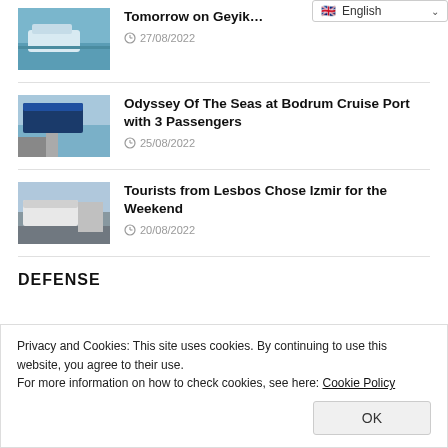[Figure (photo): Cruise/ferry boat on water, top-left article thumbnail]
Tomorrow on Geyi…
27/08/2022
[Figure (photo): Large cruise ship at port, second article thumbnail]
Odyssey Of The Seas at Bodrum Cruise Port with 3 Passengers
25/08/2022
[Figure (photo): Ferry boat at dock with passengers, third article thumbnail]
Tourists from Lesbos Chose Izmir for the Weekend
20/08/2022
DEFENSE
Privacy and Cookies: This site uses cookies. By continuing to use this website, you agree to their use.
For more information on how to check cookies, see here: Cookie Policy